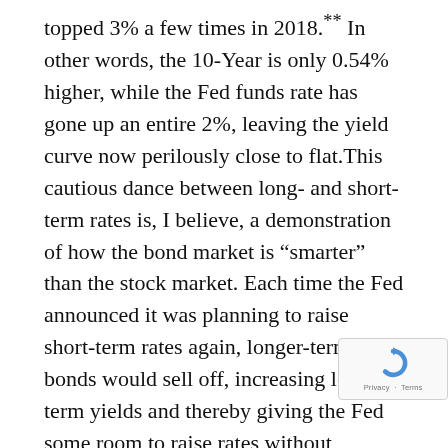topped 3% a few times in 2018.** In other words, the 10-Year is only 0.54% higher, while the Fed funds rate has gone up an entire 2%, leaving the yield curve now perilously close to flat.This cautious dance between long- and short-term rates is, I believe, a demonstration of how the bond market is “smarter” than the stock market. Each time the Fed announced it was planning to raise short-term rates again, longer-term bonds would sell off, increasing longer term yields and thereby giving the Fed some room to raise rates without flattening the yield curve. However, in December the bond market said: “Enough is enough,” and this time bond yields didn’t rise to make room for the Fed’s next rate hike. The bond market is basically saying, “We know we’re not going to get the level of economic growth needed to sustain higher interest rates,” and many economic